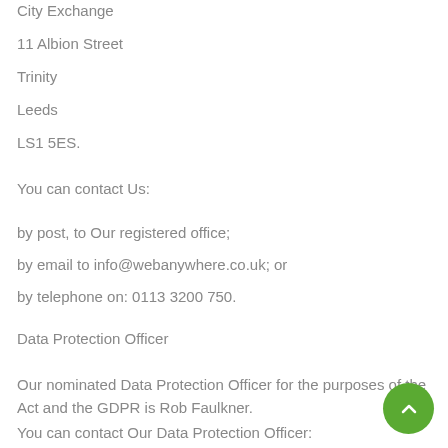City Exchange
11 Albion Street
Trinity
Leeds
LS1 5ES.
You can contact Us:
by post, to Our registered office;
by email to info@webanywhere.co.uk; or
by telephone on: 0113 3200 750.
Data Protection Officer
Our nominated Data Protection Officer for the purposes of the Act and the GDPR is Rob Faulkner.
You can contact Our Data Protection Officer: